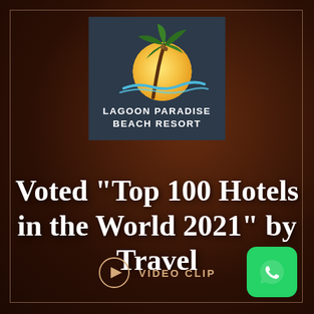[Figure (logo): Lagoon Paradise Beach Resort logo: palm tree over yellow sun with blue wave, on dark navy background, with text LAGOON PARADISE BEACH RESORT]
Voted "Top 100 Hotels in the World 2021" by Travel
[Figure (other): Video clip play button (circle with triangle) with label VIDEO CLIP]
[Figure (other): WhatsApp icon button (green rounded square with white phone handset)]